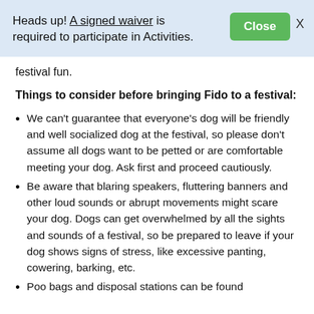Heads up! A signed waiver is required to participate in Activities.
festival fun.
Things to consider before bringing Fido to a festival:
We can't guarantee that everyone's dog will be friendly and well socialized dog at the festival, so please don't assume all dogs want to be petted or are comfortable meeting your dog. Ask first and proceed cautiously.
Be aware that blaring speakers, fluttering banners and other loud sounds or abrupt movements might scare your dog. Dogs can get overwhelmed by all the sights and sounds of a festival, so be prepared to leave if your dog shows signs of stress, like excessive panting, cowering, barking, etc.
Poo bags and disposal stations can be found